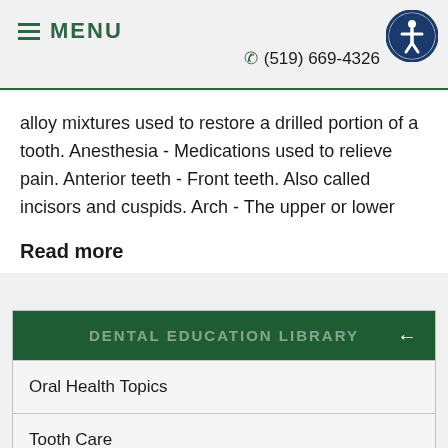MENU   ☎ (519) 669-4326
alloy mixtures used to restore a drilled portion of a tooth. Anesthesia - Medications used to relieve pain. Anterior teeth - Front teeth. Also called incisors and cuspids. Arch - The upper or lower
Read more
DENTAL EDUCATION LIBRARY
Oral Health Topics
Tooth Care
Dental Problems